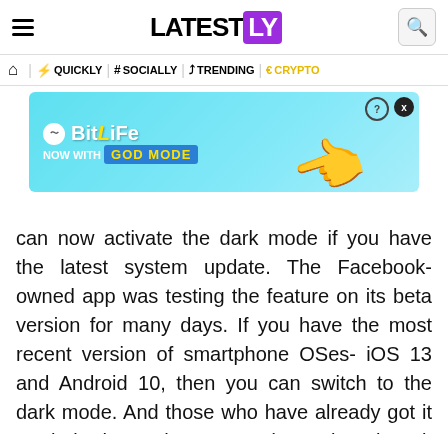LATEST LY
QUICKLY | # SOCIALLY | TRENDING | CRYPTO
[Figure (screenshot): BitLife advertisement banner - 'NOW WITH GOD MODE' on cyan background with hand pointing graphic]
can now activate the dark mode if you have the latest system update. The Facebook-owned app was testing the feature on its beta version for many days. If you have the most recent version of smartphone OSes- iOS 13 and Android 10, then you can switch to the dark mode. And those who have already got it on their phones have started tweeting about it too. If you are wondering how to go about activating it, then we give you the steps below.